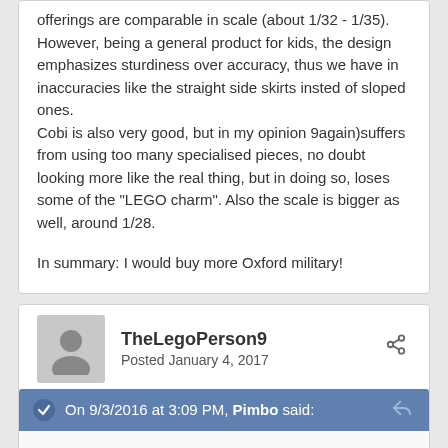offerings are comparable in scale (about 1/32 - 1/35). However, being a general product for kids, the design emphasizes sturdiness over accuracy, thus we have in inaccuracies like the straight side skirts insted of sloped ones.
Cobi is also very good, but in my opinion 9again)suffers from using too many specialised pieces, no doubt looking more like the real thing, but in doing so, loses some of the "LEGO charm". Also the scale is bigger as well, around 1/28.
In summary: I would buy more Oxford military!
TheLegoPerson9
Posted January 4, 2017
On 9/3/2016 at 3:09 PM, Pimbo said:
These don't look half bad! The "made in Korea" tag is pretty smart, it inspires a lot more confidence.
Level of detail is excellent, kill count decals etc. If these